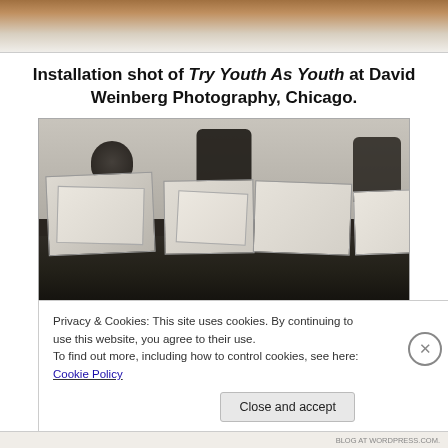[Figure (photo): Top partial photo showing a tan/brown surface, likely a table edge or floor, cropped at the top of the page.]
Installation shot of Try Youth As Youth at David Weinberg Photography, Chicago.
[Figure (photo): Black and white photograph of a dark conference table with multiple stacks of papers/files arranged on it. A person with their head down is visible at the left side, and two dark chairs are visible in the background.]
Privacy & Cookies: This site uses cookies. By continuing to use this website, you agree to their use.
To find out more, including how to control cookies, see here: Cookie Policy